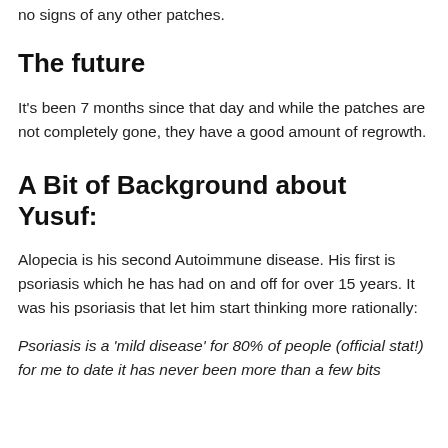no signs of any other patches.
The future
It's been 7 months since that day and while the patches are not completely gone, they have a good amount of regrowth.
A Bit of Background about Yusuf:
Alopecia is his second Autoimmune disease. His first is psoriasis which he has had on and off for over 15 years. It was his psoriasis that let him start thinking more rationally:
Psoriasis is a 'mild disease' for 80% of people (official stat!) for me to date it has never been more than a few bits